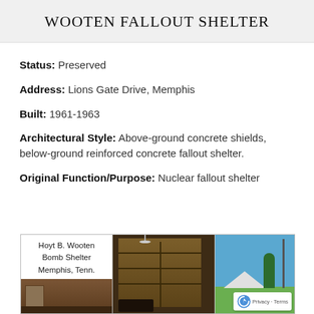WOOTEN FALLOUT SHELTER
Status: Preserved
Address: Lions Gate Drive, Memphis
Built: 1961-1963
Architectural Style: Above-ground concrete shields, below-ground reinforced concrete fallout shelter.
Original Function/Purpose: Nuclear fallout shelter
[Figure (photo): Three-panel photo strip showing: left panel with text label 'Hoyt B. Wooten Bomb Shelter Memphis, Tenn.' over a wood-paneled interior; center panel showing interior with wood shelving unit and furnishings; right panel showing exterior with white tent-like structure, a tall pole, and trees against a blue sky.]